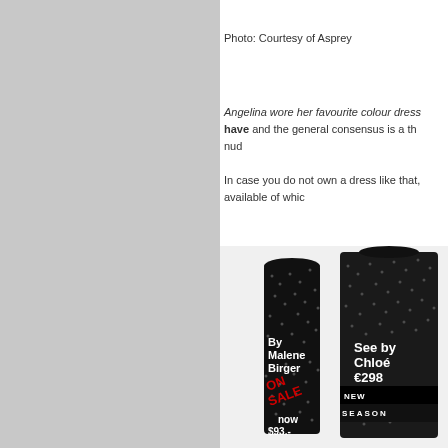[Figure (photo): Gray panel on left side of page, partial image]
Photo: Courtesy of Asprey
Angelina wore her favourite colour dres... have and the general consensus is a th... nu... In case you do not own a dress like that, available of whic...
[Figure (photo): Two black sequin dresses with sale labels: By Malene Birger ON SALE now $93.- and See by Chloé €298 NEW SEASON]